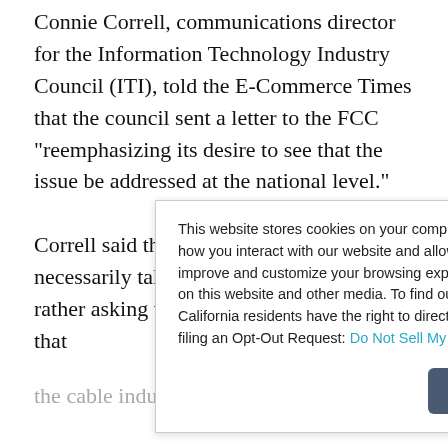Connie Correll, communications director for the Information Technology Industry Council (ITI), told the E-Commerce Times that the council sent a letter to the FCC “reemphasizing its desire to see that the issue be addressed at the national level.”
Correll said that the council was not necessarily taking sides in the debate, but rather asking that the government watch that the cable industry not become monopolized. She said that the
This website stores cookies on your computer. These cookies are used to collect information about how you interact with our website and allow us to remember you. We use this information in order to improve and customize your browsing experience and for analytics and metrics about our visitors both on this website and other media. To find out more about the cookies we use, see our Privacy Policy. California residents have the right to direct us not to sell their personal information to third parties by filing an Opt-Out Request: Do Not Sell My Personal Info.
Accept